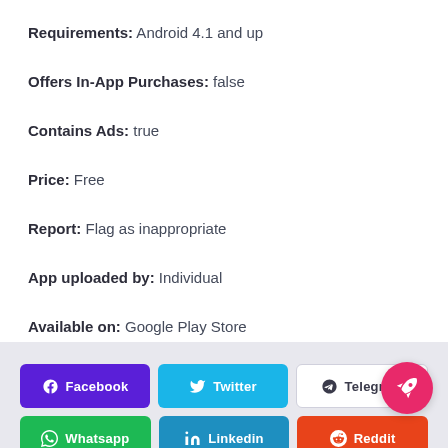Requirements: Android 4.1 and up
Offers In-App Purchases: false
Contains Ads: true
Price: Free
Report: Flag as inappropriate
App uploaded by: Individual
Available on: Google Play Store